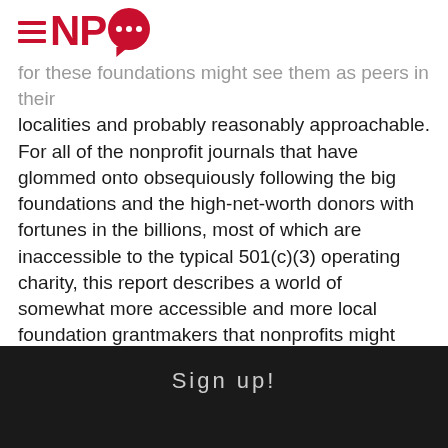[Figure (logo): NPQ logo with hamburger menu lines, red NPQ text, and red speech bubble with three white dots]
for these foundations might see them as peers in their localities and probably reasonably approachable. For all of the nonprofit journals that have glommed onto obsequiously following the big foundations and the high-net-worth donors with fortunes in the billions, most of which are inaccessible to the typical 501(c)(3) operating charity, this report describes a world of somewhat more accessible and more local foundation grantmakers that nonprofits might find not in a New York City skyscraper, in an office suite overlooking the San Francisco Bay, or in a new campus in Seattle, but in their hometowns. –Rick Cohen
We are using cookies to give you the best experience on our website.
Sign up!